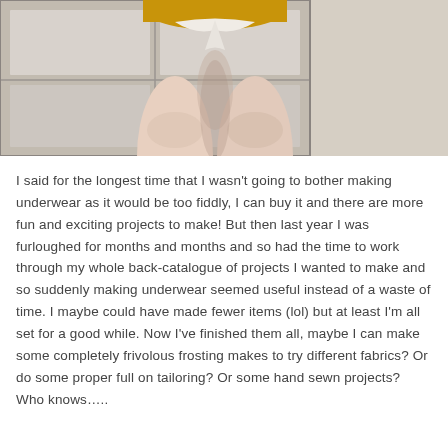[Figure (photo): Photo showing the lower half of a person wearing yellow/gold underwear and a white fabric tied around the waist/hips, viewed from behind, standing in front of what appears to be white wardrobes or drawers.]
I said for the longest time that I wasn't going to bother making underwear as it would be too fiddly, I can buy it and there are more fun and exciting projects to make! But then last year I was furloughed for months and months and so had the time to work through my whole back-catalogue of projects I wanted to make and so suddenly making underwear seemed useful instead of a waste of time. I maybe could have made fewer items (lol) but at least I'm all set for a good while. Now I've finished them all, maybe I can make some completely frivolous frosting makes to try different fabrics? Or do some proper full on tailoring? Or some hand sewn projects? Who knows…..